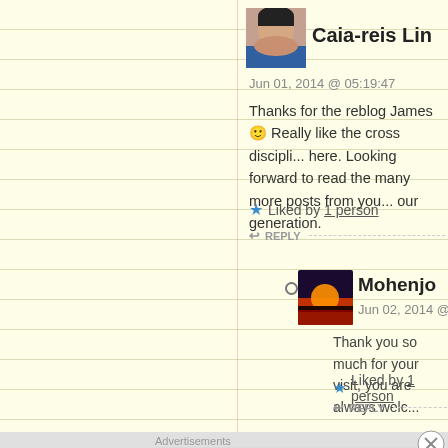Caia-reis Lin
Jun 01, 2014 @ 05:19:47
Thanks for the reblog James 🙂 Really like the cross discipli... here. Looking forward to read the many more posts from you... our generation.
Liked by 1 person
REPLY
Mohenjo
Jun 02, 2014 @ 18:09:26
Thank you so much for your visit, you are always welc...
Liked by 1 person
REPLY
Advertisements
Your next favorite podcast is here.
Pocket Casts